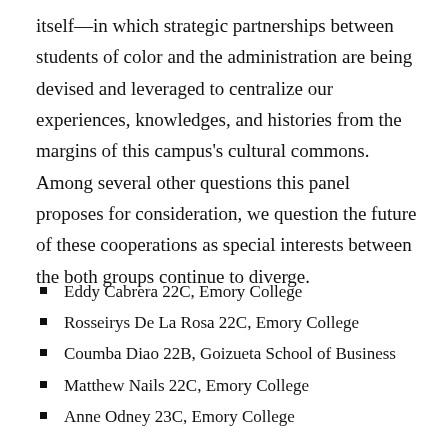itself—in which strategic partnerships between students of color and the administration are being devised and leveraged to centralize our experiences, knowledges, and histories from the margins of this campus's cultural commons. Among several other questions this panel proposes for consideration, we question the future of these cooperations as special interests between the both groups continue to diverge.
Eddy Cabrera 22C, Emory College
Rosseirys De La Rosa 22C, Emory College
Coumba Diao 22B, Goizueta School of Business
Matthew Nails 22C, Emory College
Anne Odney 23C, Emory College